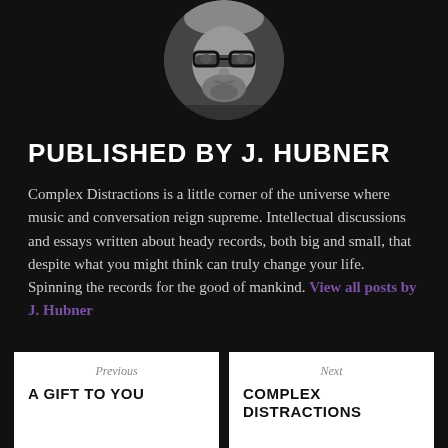[Figure (photo): Circular cropped black and white portrait photo of a man with glasses and a beard]
PUBLISHED BY J. HUBNER
Complex Distractions is a little corner of the universe where music and conversation reign supreme. Intellectual discussions and essays written about heady records, both big and small, that despite what you might think can truly change your life. Spinning the records for the good of mankind.
View all posts by J. Hubner
Previous
A GIFT TO YOU
Next
COMPLEX DISTRACTIONS